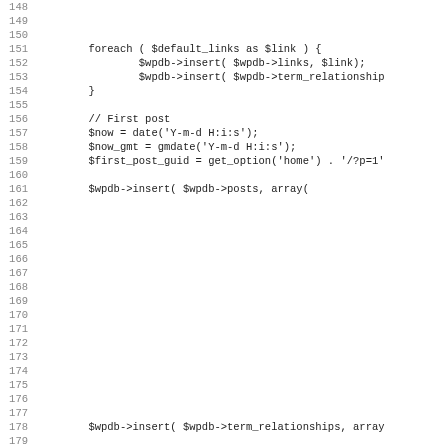Code listing lines 148-179 showing PHP code with foreach loop, date functions, and $wpdb->insert() calls